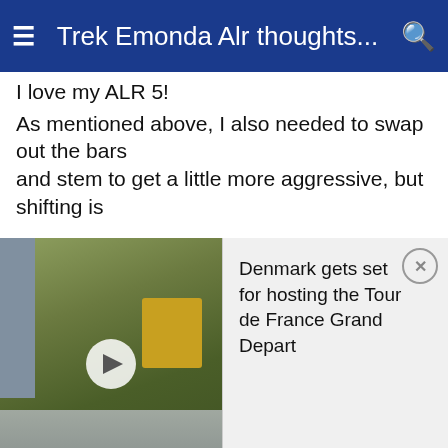Trek Emonda Alr thoughts...
I love my ALR 5!
As mentioned above, I also needed to swap out the bars and stem to get a little more aggressive, but shifting is
[Figure (screenshot): Video thumbnail showing a street scene with a yellow bus, trees, and a play button overlay. Caption text in orange boxes at the bottom.]
Denmark gets set for hosting the Tour de France Grand Depart